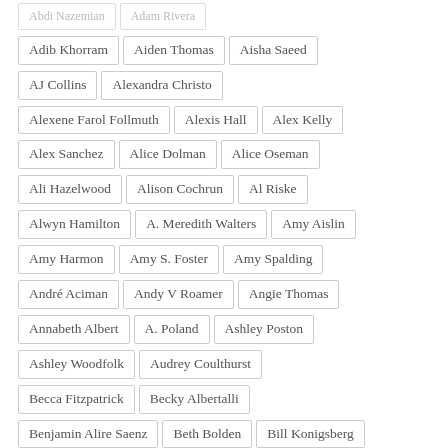Abdi Nazemian
Adam Rivera
Adib Khorram
Aiden Thomas
Aisha Saeed
AJ Collins
Alexandra Christo
Alexene Farol Follmuth
Alexis Hall
Alex Kelly
Alex Sanchez
Alice Dolman
Alice Oseman
Ali Hazelwood
Alison Cochrun
Al Riske
Alwyn Hamilton
A. Meredith Walters
Amy Aislin
Amy Harmon
Amy S. Foster
Amy Spalding
André Aciman
Andy V Roamer
Angie Thomas
Annabeth Albert
A. Poland
Ashley Poston
Ashley Woodfolk
Audrey Coulthurst
Becca Fitzpatrick
Becky Albertalli
Benjamin Alire Saenz
Beth Bolden
Bill Konigsberg
B.L. Maxwell
Briar Prescott
Bri Spicer
Brooke Skipstone
Cale Dietrich
Casey McQuiston